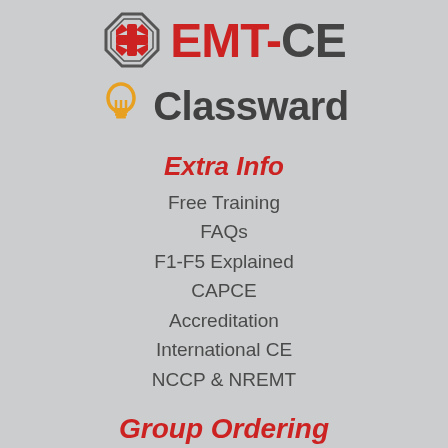[Figure (logo): EMT-CE logo with a red star-of-life medical symbol and 'EMT-CE' text in red and dark grey]
[Figure (logo): Classward logo with an orange lightbulb icon and 'Classward' text in dark grey]
Extra Info
Free Training
FAQs
F1-F5 Explained
CAPCE
Accreditation
International CE
NCCP & NREMT
Group Ordering
Group Memberships